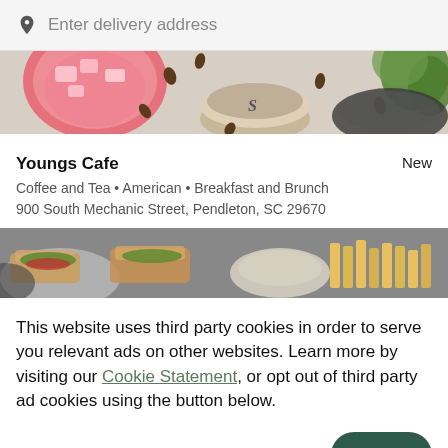[Figure (screenshot): Search bar with location pin icon and placeholder text 'Enter delivery address' on light gray background]
[Figure (photo): Top-down view of drinks on a table: pink/red beverage in glass, coffee cup, coffee beans scattered, and green plant in top right]
Youngs Cafe
New
Coffee and Tea • American • Breakfast and Brunch
900 South Mechanic Street, Pendleton, SC 29670
[Figure (photo): Top-down view of food plates on table: sandwiches, fries, and various dishes]
This website uses third party cookies in order to serve you relevant ads on other websites. Learn more by visiting our Cookie Statement, or opt out of third party ad cookies using the button below.
OPT OUT
GOT IT